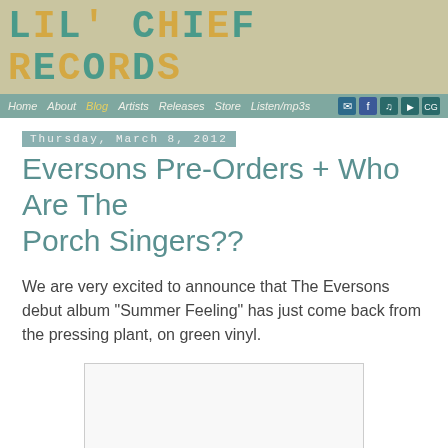LIL' CHIEF RECORDS
Home  About  Blog  Artists  Releases  Store  Listen/mp3s
Thursday, March 8, 2012
Eversons Pre-Orders + Who Are The Porch Singers??
We are very excited to announce that The Eversons debut album "Summer Feeling" has just come back from the pressing plant, on green vinyl.
[Figure (photo): Image placeholder / embedded media content]